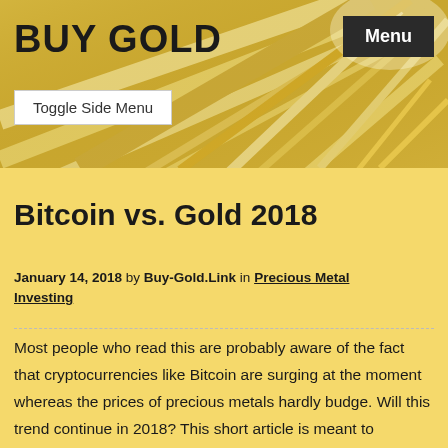[Figure (photo): Gold-themed header banner with radiating golden light texture background]
BUY GOLD
Menu
Toggle Side Menu
Bitcoin vs. Gold 2018
January 14, 2018 by Buy-Gold.Link in Precious Metal Investing
Most people who read this are probably aware of the fact that cryptocurrencies like Bitcoin are surging at the moment whereas the prices of precious metals hardly budge. Will this trend continue in 2018? This short article is meant to